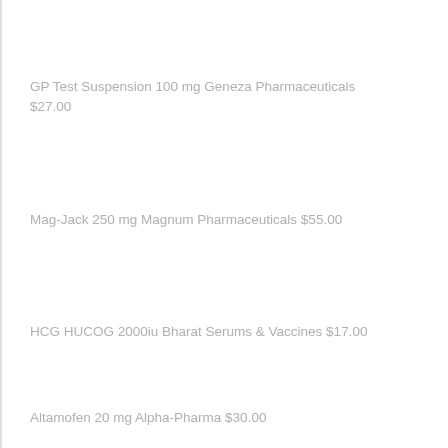GP Test Suspension 100 mg Geneza Pharmaceuticals $27.00
Mag-Jack 250 mg Magnum Pharmaceuticals $55.00
HCG HUCOG 2000iu Bharat Serums & Vaccines $17.00
Altamofen 20 mg Alpha-Pharma $30.00